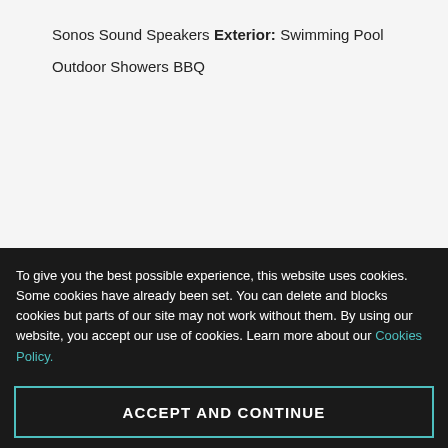Sonos Sound Speakers
Exterior:
Swimming Pool
Outdoor Showers
BBQ
To give you the best possible experience, this website uses cookies. Some cookies have already been set. You can delete and blocks cookies but parts of our site may not work without them. By using our website, you accept our use of cookies. Learn more about our Cookies Policy.
ACCEPT AND CONTINUE